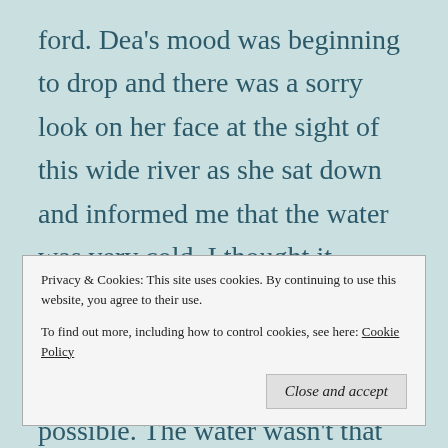ford. Dea's mood was beginning to drop and there was a sorry look on her face at the sight of this wide river as she sat down and informed me that the water was very cold. I thought it looked like we could probably find a way across though and waded out to see if it would be possible. The water wasn't that deep, but it was indeed freezing cold on my bare feet and the current was strong. By the time I'd gone across once my feet were numb, but I
Privacy & Cookies: This site uses cookies. By continuing to use this website, you agree to their use.
To find out more, including how to control cookies, see here: Cookie Policy
Close and accept